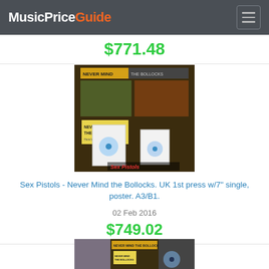MusicPriceGuide
$771.48
[Figure (photo): Sex Pistols Never Mind the Bollocks album with 7 inch single and poster]
Sex Pistols - Never Mind the Bollocks. UK 1st press w/7" single, poster. A3/B1.
02 Feb 2016
$749.02
[Figure (photo): Second photo of Sex Pistols Never Mind the Bollocks album collection]